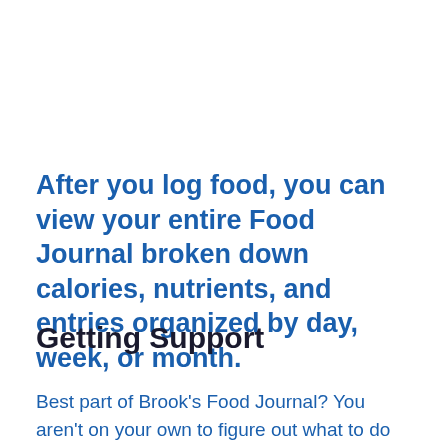After you log food, you can view your entire Food Journal broken down calories, nutrients, and entries organized by day, week, or month.
Getting Support
Best part of Brook's Food Journal? You aren't on your own to figure out what to do with the Meal